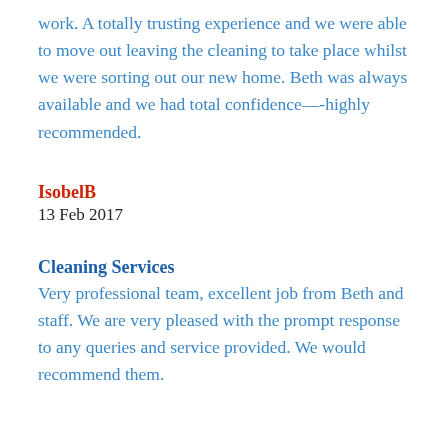work. A totally trusting experience and we were able to move out leaving the cleaning to take place whilst we were sorting out our new home. Beth was always available and we had total confidence—-highly recommended.
IsobelB
13 Feb 2017
Cleaning Services
Very professional team, excellent job from Beth and staff. We are very pleased with the prompt response to any queries and service provided. We would recommend them.